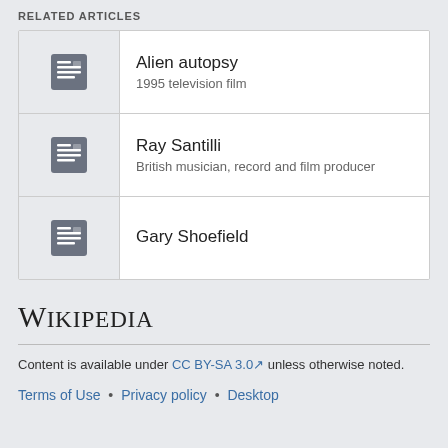RELATED ARTICLES
| Icon | Title | Subtitle |
| --- | --- | --- |
| [article icon] | Alien autopsy | 1995 television film |
| [article icon] | Ray Santilli | British musician, record and film producer |
| [article icon] | Gary Shoefield |  |
[Figure (logo): Wikipedia logo text: 'Wikipedia' in serif font]
Content is available under CC BY-SA 3.0 unless otherwise noted.
Terms of Use • Privacy policy • Desktop